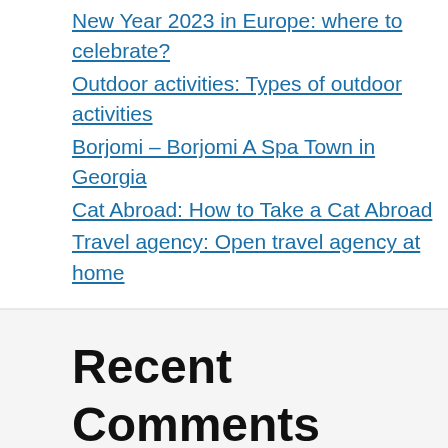New Year 2023 in Europe: where to celebrate?
Outdoor activities: Types of outdoor activities
Borjomi – Borjomi A Spa Town in Georgia
Cat Abroad: How to Take a Cat Abroad
Travel agency: Open travel agency at home
Recent Comments
No comments to show.
© 2022 crossingtheskies.com • Built with GeneratePress